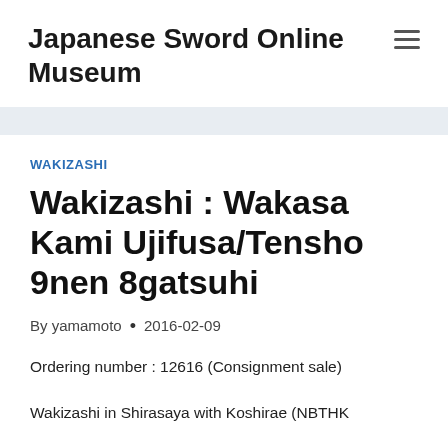Japanese Sword Online Museum
WAKIZASHI
Wakizashi : Wakasa Kami Ujifusa/Tensho 9nen 8gatsuhi
By yamamoto • 2016-02-09
Ordering number : 12616 (Consignment sale)
Wakizashi in Shirasaya with Koshirae (NBTHK